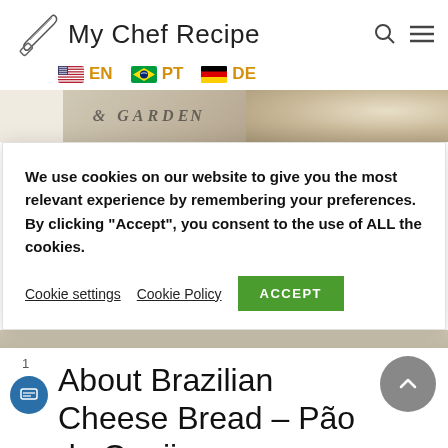My Chef Recipe
[Figure (screenshot): Top portion of a food photo showing baked bread rolls on a surface with a 'GARDEN' sign in the background]
We use cookies on our website to give you the most relevant experience by remembering your preferences. By clicking “Accept”, you consent to the use of ALL the cookies.
Cookie settings   Cookie Policy   ACCEPT
[Figure (screenshot): Bottom portion of a food photo showing a wooden surface]
1
About Brazilian Cheese Bread – Pão de Queijo